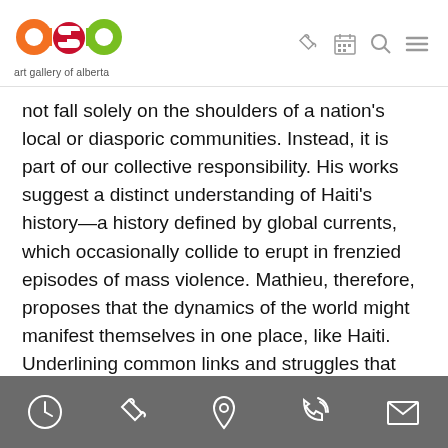[Figure (logo): Art Gallery of Alberta logo — stylized colorful 'aga' letters in orange, red, green with 'art gallery of alberta' text below]
[Figure (screenshot): Navigation icons: ticket, calendar, search, hamburger menu]
not fall solely on the shoulders of a nation's local or diasporic communities. Instead, it is part of our collective responsibility. His works suggest a distinct understanding of Haiti's history—a history defined by global currents, which occasionally collide to erupt in frenzied episodes of mass violence. Mathieu, therefore, proposes that the dynamics of the world might manifest themselves in one place, like Haiti. Underlining common links and struggles that unite us despite national
Footer navigation icons: clock/hours, ticket, location pin, phone, email